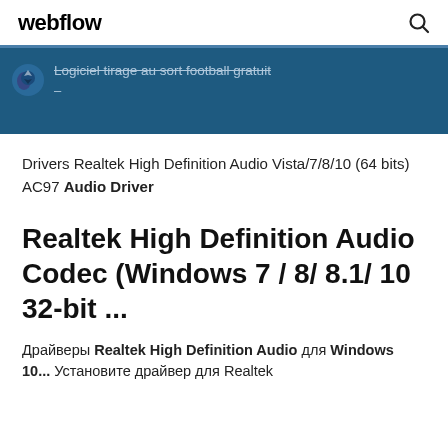webflow
[Figure (screenshot): Blue banner with soccer ball icon and strikethrough text: Logiciel tirage au sort football gratuit with a dash below]
Drivers Realtek High Definition Audio Vista/7/8/10 (64 bits) AC97 Audio Driver
Realtek High Definition Audio Codec (Windows 7 / 8/ 8.1/ 10 32-bit ...
Драйверы Realtek High Definition Audio для Windows 10... Установите драйвер для Realtek